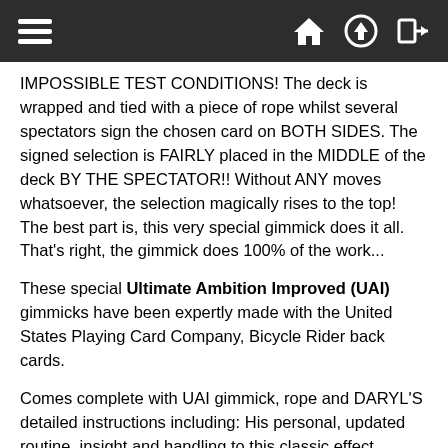[navigation bar with hamburger menu, home icon, upload icon, login icon]
IMPOSSIBLE TEST CONDITIONS! The deck is wrapped and tied with a piece of rope whilst several spectators sign the chosen card on BOTH SIDES. The signed selection is FAIRLY placed in the MIDDLE of the deck BY THE SPECTATOR!! Without ANY moves whatsoever, the selection magically rises to the top! The best part is, this very special gimmick does it all. That's right, the gimmick does 100% of the work...
These special Ultimate Ambition Improved (UAI) gimmicks have been expertly made with the United States Playing Card Company, Bicycle Rider back cards.
Comes complete with UAI gimmick, rope and DARYL'S detailed instructions including: His personal, updated routine, insight and handling to this classic effect (Online).
BONUS! As a bonus, you will receive Gregory Wilson's